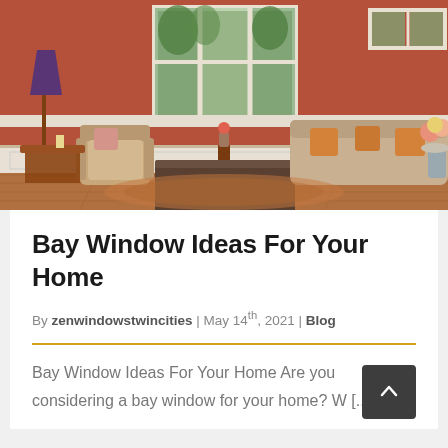[Figure (photo): Interior living room photo with warm terracotta/red walls, hardwood floors, a beige sofa with orange pillows, a dark wood coffee table, an armchair, Tiffany lamp, and large bay windows in the background with trees visible outside.]
Bay Window Ideas For Your Home
By zenwindowstwincities | May 14th, 2021 | Blog
Bay Window Ideas For Your Home Are you considering a bay window for your home? W [...]